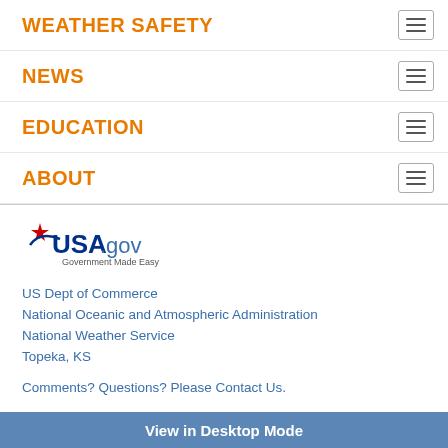WEATHER SAFETY
NEWS
EDUCATION
ABOUT
[Figure (logo): USA.gov - Government Made Easy logo]
US Dept of Commerce
National Oceanic and Atmospheric Administration
National Weather Service
Topeka, KS
Comments? Questions? Please Contact Us.
Disclaimer
Information Quality
Help
Glossary
Privacy Policy
Freedom of Information Act (FOIA)
About Us
Career Opportunities
View in Desktop Mode